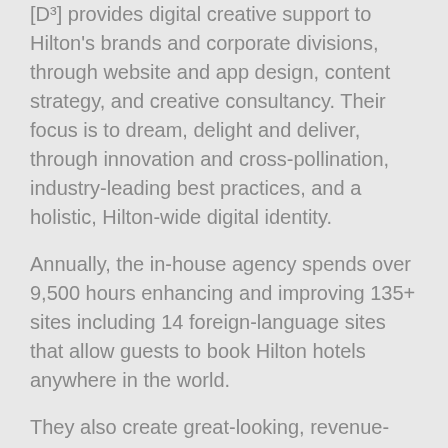[D³] provides digital creative support to Hilton's brands and corporate divisions, through website and app design, content strategy, and creative consultancy. Their focus is to dream, delight and deliver, through innovation and cross-pollination, industry-leading best practices, and a holistic, Hilton-wide digital identity.
Annually, the in-house agency spends over 9,500 hours enhancing and improving 135+ sites including 14 foreign-language sites that allow guests to book Hilton hotels anywhere in the world.
They also create great-looking, revenue-generating sites with designers that are as passionate about usability as they are accessibility. The team's UX architects specialize in taking complex, wide-ranging content and functionality and arranging it in a coherent, accessible structure—which their developers create fast, responsive sites and apps using the latest CSS, JavaScript, and HTML5 techniques.
[D³]'s optimization team conducts multivariate tests, surveys and qualitative research. With this invaluable